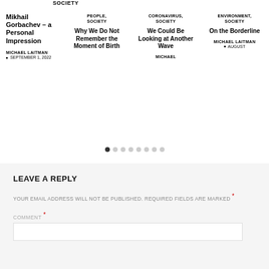SOCIETY
Mikhail Gorbachev – a Personal Impression
MICHAEL LAITMAN
SEPTEMBER 1, 2022
PEOPLE, SOCIETY
Why We Do Not Remember the Moment of Birth
CORONAVIRUS, SOCIETY
We Could Be Looking at Another Wave
MICHAEL
ENVIRONMENT, SOCIETY
On the Borderline
MICHAEL LAITMAN
AUGUST
[Figure (infographic): Pagination dots: 8 dots, first one filled/active, rest gray]
LEAVE A REPLY
YOUR EMAIL ADDRESS WILL NOT BE PUBLISHED. REQUIRED FIELDS ARE MARKED *
COMMENT *